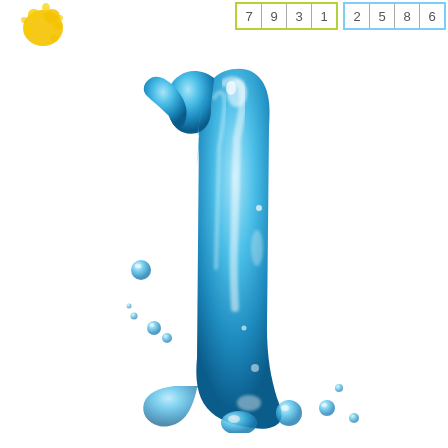[Figure (illustration): A yellow paint/water splash blob in the top-left corner of the page]
| 7 | 9 | 3 | 1 |
| 2 | 5 | 8 | 6 |
[Figure (illustration): A large liquid/water-effect numeral '1' rendered in shiny blue gel/water style with water droplets scattered around it]